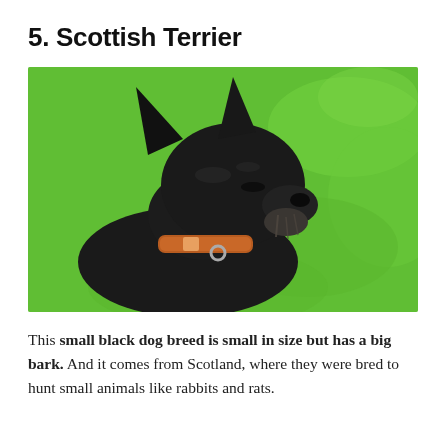5. Scottish Terrier
[Figure (photo): Close-up photo of a black Scottish Terrier dog with pointed ears and a brown leather collar, sitting in front of bright green grass in sunlight.]
This small black dog breed is small in size but has a big bark. And it comes from Scotland, where they were bred to hunt small animals like rabbits and rats.